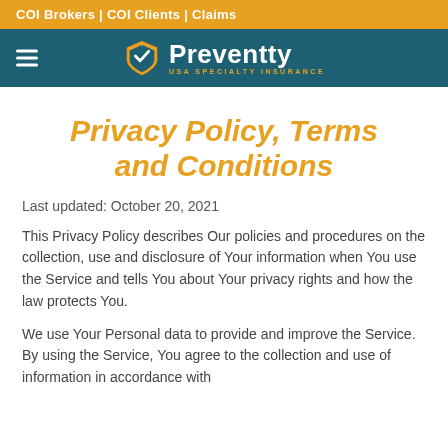COI Brokers | COI Clients | Claims
[Figure (logo): Preventty USA Specialty Insurance logo with shield icon on teal navigation bar with hamburger menu]
Privacy Policy, Terms and Conditions
Last updated: October 20, 2021
This Privacy Policy describes Our policies and procedures on the collection, use and disclosure of Your information when You use the Service and tells You about Your privacy rights and how the law protects You.
We use Your Personal data to provide and improve the Service. By using the Service, You agree to the collection and use of information in accordance with